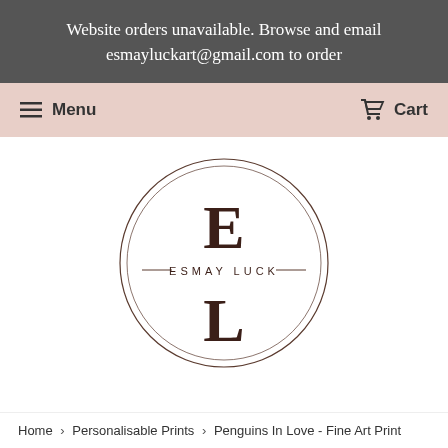Website orders unavailable. Browse and email esmayluckart@gmail.com to order
Menu  Cart
[Figure (logo): Esmay Luck circular logo with large letters E and L and the text ESMAY LUCK in the middle, enclosed in a double-line circle]
Home › Personalisable Prints › Penguins In Love - Fine Art Print